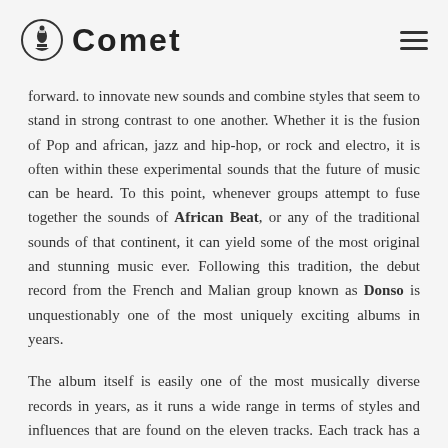Comet
forward. to innovate new sounds and combine styles that seem to stand in strong contrast to one another. Whether it is the fusion of Pop and african, jazz and hip-hop, or rock and electro, it is often within these experimental sounds that the future of music can be heard. To this point, whenever groups attempt to fuse together the sounds of African Beat, or any of the traditional sounds of that continent, it can yield some of the most original and stunning music ever. Following this tradition, the debut record from the French and Malian group known as Donso is unquestionably one of the most uniquely exciting albums in years.
The album itself is easily one of the most musically diverse records in years, as it runs a wide range in terms of styles and influences that are found on the eleven tracks. Each track has a very unique sound and mood, and the